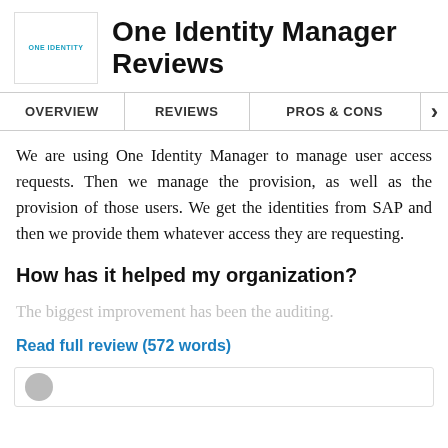One Identity Manager Reviews
OVERVIEW   REVIEWS   PROS & CONS
We are using One Identity Manager to manage user access requests. Then we manage the provision, as well as the provision of those users. We get the identities from SAP and then we provide them whatever access they are requesting.
How has it helped my organization?
The biggest improvement has been the auditing.
Read full review (572 words)